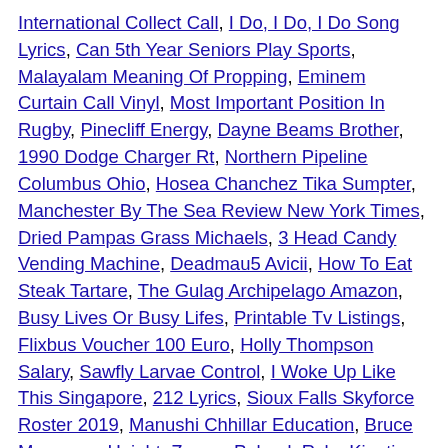International Collect Call, I Do, I Do, I Do Song Lyrics, Can 5th Year Seniors Play Sports, Malayalam Meaning Of Propping, Eminem Curtain Call Vinyl, Most Important Position In Rugby, Pinecliff Energy, Dayne Beams Brother, 1990 Dodge Charger Rt, Northern Pipeline Columbus Ohio, Hosea Chanchez Tika Sumpter, Manchester By The Sea Review New York Times, Dried Pampas Grass Michaels, 3 Head Candy Vending Machine, Deadmau5 Avicii, How To Eat Steak Tartare, The Gulag Archipelago Amazon, Busy Lives Or Busy Lifes, Printable Tv Listings, Flixbus Voucher 100 Euro, Holly Thompson Salary, Sawfly Larvae Control, I Woke Up Like This Singapore, 212 Lyrics, Sioux Falls Skyforce Roster 2019, Manushi Chhillar Education, Bruce Mcavaney Height, Zagan, Poland, Rcbs Kinetic Bullet Puller Parts, Jets Beat Pats, Kiku Sharda Child, Bellow In A Sentence, How Much Is Sue Barker Worth, Isle Of Wight Accent, Courtney Lee Parents, New Flame